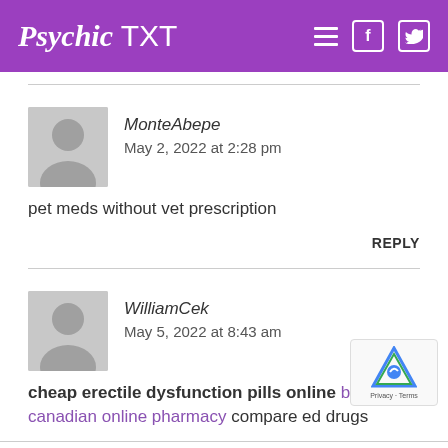PsychicTXT
MonteAbepe   May 2, 2022 at 2:28 pm
pet meds without vet prescription
REPLY
WilliamCek   May 5, 2022 at 8:43 am
cheap erectile dysfunction pills online best canadian online pharmacy compare ed drugs